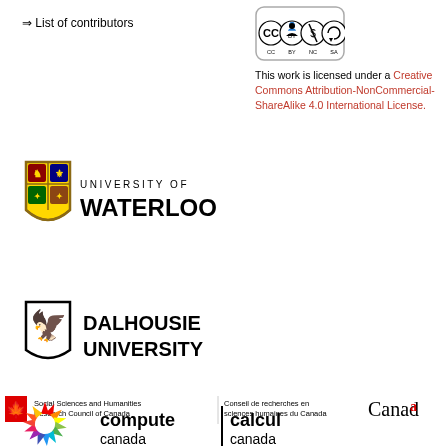⇒ List of contributors
[Figure (logo): Creative Commons BY NC SA license badge]
This work is licensed under a Creative Commons Attribution-NonCommercial-ShareAlike 4.0 International License.
[Figure (logo): University of Waterloo logo with shield and wordmark]
[Figure (logo): Dalhousie University logo with shield and wordmark]
[Figure (logo): Social Sciences and Humanities Research Council of Canada / Conseil de recherches en sciences humaines du Canada / Canada wordmark]
[Figure (logo): Compute Canada / Calcul Canada logo with colorful starburst]